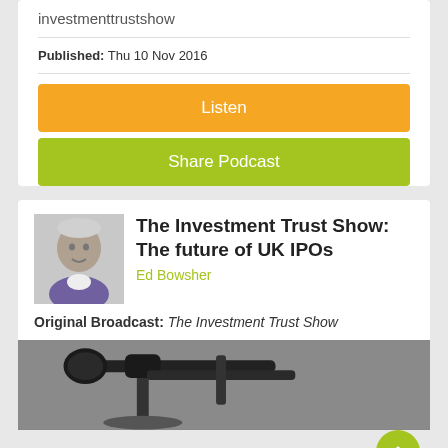investmenttrustshow
Published: Thu 10 Nov 2016
Listen
Share Podcast
The Investment Trust Show: The future of UK IPOs
Ed Bowsher
Original Broadcast: The Investment Trust Show
[Figure (photo): Close-up photo of a microphone stand with dark metal arms against a grey background]